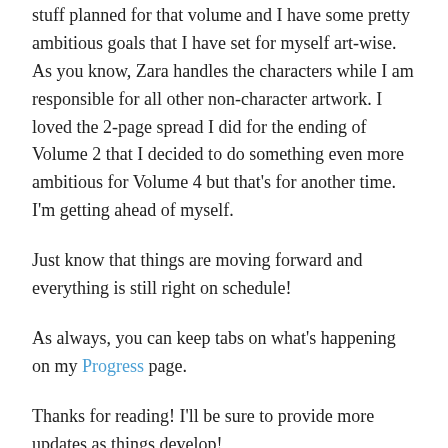stuff planned for that volume and I have some pretty ambitious goals that I have set for myself art-wise. As you know, Zara handles the characters while I am responsible for all other non-character artwork. I loved the 2-page spread I did for the ending of Volume 2 that I decided to do something even more ambitious for Volume 4 but that's for another time. I'm getting ahead of myself.
Just know that things are moving forward and everything is still right on schedule!
As always, you can keep tabs on what's happening on my Progress page.
Thanks for reading! I'll be sure to provide more updates as things develop!